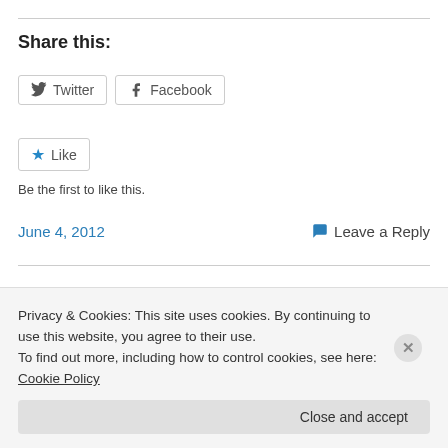Share this:
Twitter  Facebook
Like
Be the first to like this.
June 4, 2012   Leave a Reply
Listening to the Body and the
Privacy & Cookies: This site uses cookies. By continuing to use this website, you agree to their use. To find out more, including how to control cookies, see here: Cookie Policy
Close and accept